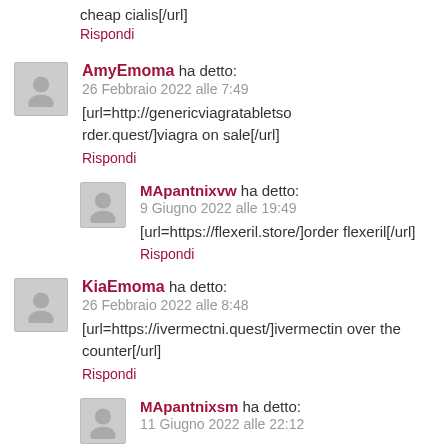cheap cialis[/url]
Rispondi
AmyEmoma ha detto:
26 Febbraio 2022 alle 7:49
[url=http://genericviagratabletso rder.quest/]viagra on sale[/url]
Rispondi
MApantnixvw ha detto:
9 Giugno 2022 alle 19:49
[url=https://flexeril.store/]order flexeril[/url]
Rispondi
KiaEmoma ha detto:
26 Febbraio 2022 alle 8:48
[url=https://ivermectni.quest/]ivermectin over the counter[/url]
Rispondi
MApantnixsm ha detto:
11 Giugno 2022 alle 22:12